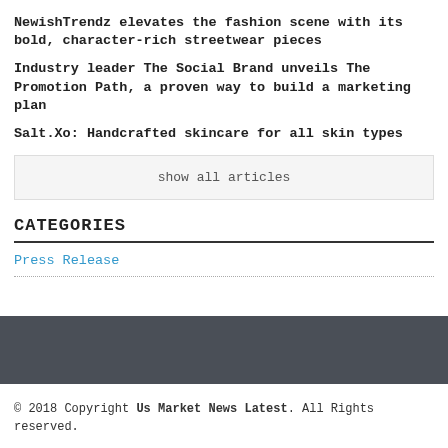NewishTrendz elevates the fashion scene with its bold, character-rich streetwear pieces
Industry leader The Social Brand unveils The Promotion Path, a proven way to build a marketing plan
Salt.Xo: Handcrafted skincare for all skin types
show all articles
CATEGORIES
Press Release
© 2018 Copyright Us Market News Latest. All Rights reserved.